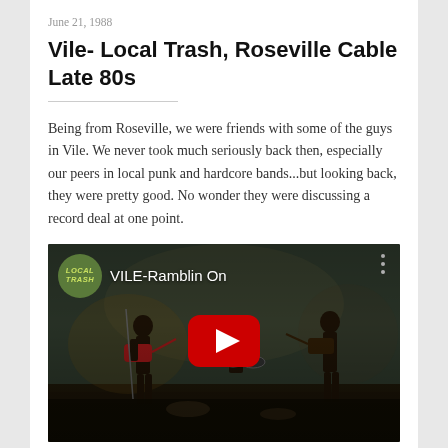June 21, 1988
Vile- Local Trash, Roseville Cable Late 80s
Being from Roseville, we were friends with some of the guys in Vile. We never took much seriously back then, especially our peers in local punk and hardcore bands...but looking back, they were pretty good. No wonder they were discussing a record deal at one point.
[Figure (screenshot): YouTube video thumbnail showing a band performing on stage, titled 'VILE-Ramblin On', with a Local Trash logo circle in the top left and a red YouTube play button in the center.]